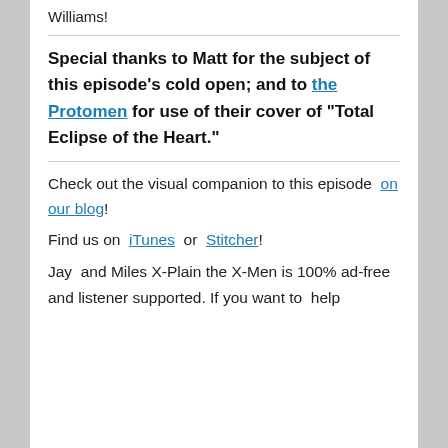Williams!
Special thanks to Matt for the subject of this episode's cold open; and to the Protomen for use of their cover of “Total Eclipse of the Heart.”
Check out the visual companion to this episode on our blog!
Find us on iTunes or Stitcher!
Jay and Miles X-Plain the X-Men is 100% ad-free and listener supported. If you want to help